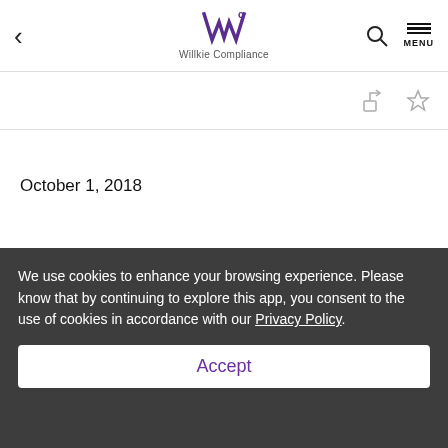Willkie Compliance
October 1, 2018
We use cookies to enhance your browsing experience. Please know that by continuing to explore this app, you consent to the use of cookies in accordance with our Privacy Policy.
Accept